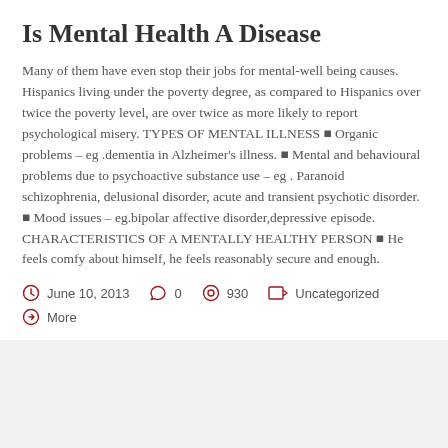Is Mental Health A Disease
Many of them have even stop their jobs for mental-well being causes. Hispanics living under the poverty degree, as compared to Hispanics over twice the poverty level, are over twice as more likely to report psychological misery. TYPES OF MENTAL ILLNESS ■ Organic problems – eg .dementia in Alzheimer's illness. ■ Mental and behavioural problems due to psychoactive substance use – eg . Paranoid schizophrenia, delusional disorder, acute and transient psychotic disorder. ■ Mood issues – eg.bipolar affective disorder,depressive episode. CHARACTERISTICS OF A MENTALLY HEALTHY PERSON ■ He feels comfy about himself, he feels reasonably secure and enough.
June 10, 2013    0    930    Uncategorized
More